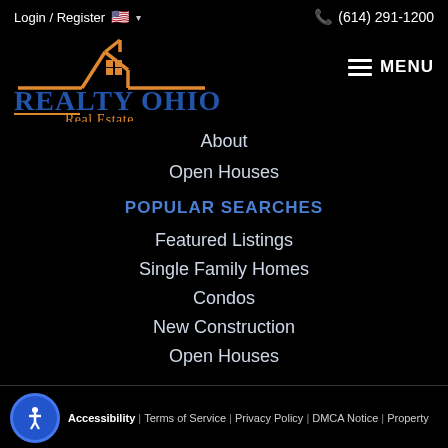Login / Register   🇺🇸 ∨   (614) 291-1200
[Figure (logo): Realty Ohio Real Estate logo with orange house outline and blue text]
MENU
About
Open Houses
POPULAR SEARCHES
Featured Listings
Single Family Homes
Condos
New Construction
Open Houses
Accessibility | Terms of Service | Privacy Policy | DMCA Notice | Property